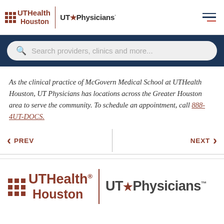[Figure (logo): UTHealth Houston | UT Physicians logo with navigation hamburger menu]
[Figure (screenshot): Search bar with placeholder 'Search providers, clinics and more...']
As the clinical practice of McGovern Medical School at UTHealth Houston, UT Physicians has locations across the Greater Houston area to serve the community. To schedule an appointment, call 888-4UT-DOCS.
[Figure (screenshot): Pagination navigation with PREV and NEXT buttons separated by a vertical divider]
[Figure (logo): Footer UTHealth Houston | UT Physicians logo]